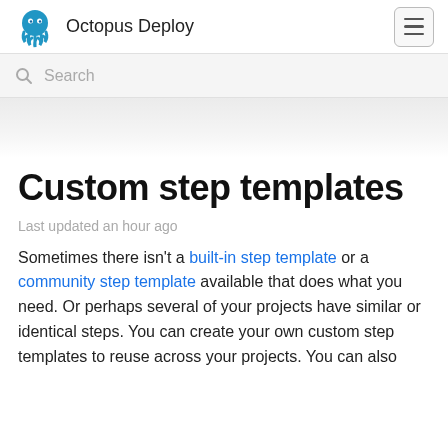Octopus Deploy
Custom step templates
Last updated an hour ago
Sometimes there isn't a built-in step template or a community step template available that does what you need. Or perhaps several of your projects have similar or identical steps. You can create your own custom step templates to reuse across your projects. You can also